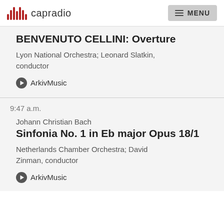capradio  MENU
BENVENUTO CELLINI: Overture
Lyon National Orchestra; Leonard Slatkin, conductor
ArkivMusic
9:47 a.m.
Johann Christian Bach
Sinfonia No. 1 in Eb major Opus 18/1
Netherlands Chamber Orchestra; David Zinman, conductor
ArkivMusic